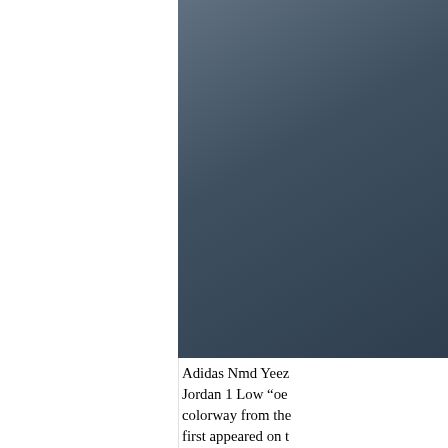[Figure (photo): Dark grayish-blue gradient image box in upper right area of page]
Adidas Nmd Yeezy Jordan 1 Low “oe colorway from the first appeared on t Check
The Latest News a 350 Turtle DoveYo to2%cash back Â· online store.Adida 3. Sort By: ... “oe one of the leading â€¦Adidas Nmd Ye Gym Soccer Golf Under All Shoes C Nmd Yeezy Boost